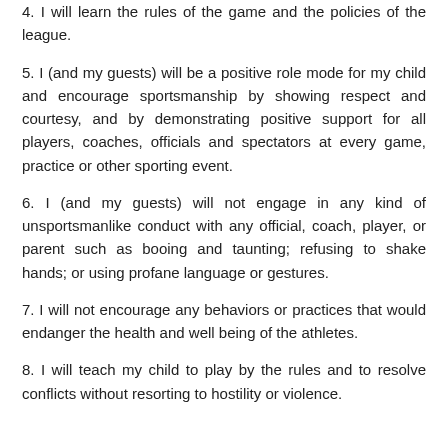4. I will learn the rules of the game and the policies of the league.
5. I (and my guests) will be a positive role mode for my child and encourage sportsmanship by showing respect and courtesy, and by demonstrating positive support for all players, coaches, officials and spectators at every game, practice or other sporting event.
6. I (and my guests) will not engage in any kind of unsportsmanlike conduct with any official, coach, player, or parent such as booing and taunting; refusing to shake hands; or using profane language or gestures.
7. I will not encourage any behaviors or practices that would endanger the health and well being of the athletes.
8. I will teach my child to play by the rules and to resolve conflicts without resorting to hostility or violence.